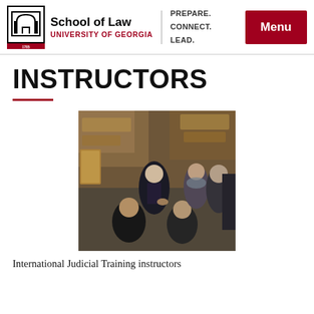School of Law | University of Georgia | PREPARE. CONNECT. LEAD. | Menu
INSTRUCTORS
[Figure (photo): Group of people standing in a circle in a courtroom or classroom setting, viewed from above, engaged in conversation. Several people including an older bald man in a dark jacket, a woman with glasses and a scarf, a man with grey hair, and others with dark hair.]
International Judicial Training instructors